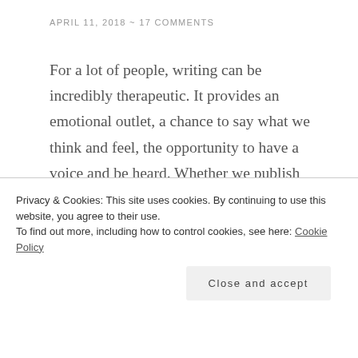APRIL 11, 2018  ~  17 COMMENTS
For a lot of people, writing can be incredibly therapeutic. It provides an emotional outlet, a chance to say what we think and feel, the opportunity to have a voice and be heard. Whether we publish our work or not, there is no doubt that writing provides an emotional release, as well as a creative one. Throughout my life, I have often turned to writing to soothe and comfort me. I've used it to combat and work through feelings of anxiety, loneliness and
Privacy & Cookies: This site uses cookies. By continuing to use this website, you agree to their use.
To find out more, including how to control cookies, see here: Cookie Policy
Close and accept